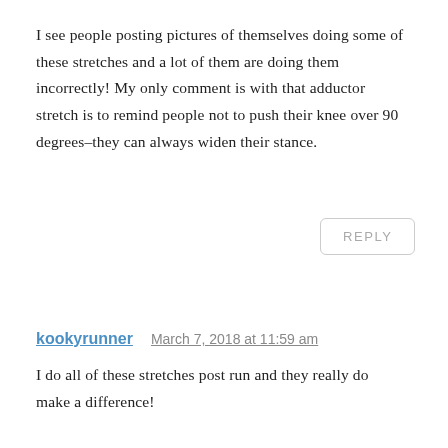I see people posting pictures of themselves doing some of these stretches and a lot of them are doing them incorrectly! My only comment is with that adductor stretch is to remind people not to push their knee over 90 degrees–they can always widen their stance.
REPLY
kookyrunner
March 7, 2018 at 11:59 am
I do all of these stretches post run and they really do make a difference!